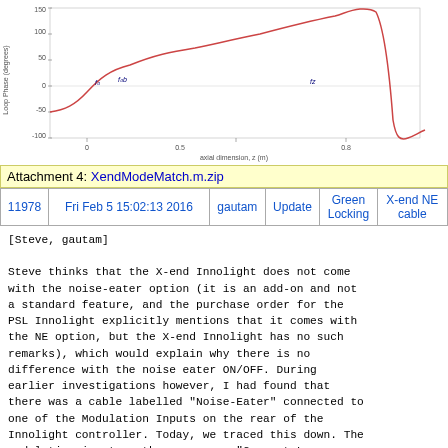[Figure (continuous-plot): A continuous plot showing loop phase (degrees) vs axial dimension z (m). The curve starts around -50 degrees on the left, rises through a broad S-shape to about +150 degrees near x=0.8, then drops sharply. There are small annotation labels near the curve including 'f0', 'f0b', and 'fz'.]
| 11978 | Fri Feb 5 15:02:13 2016 | gautam | Update | Green Locking | X-end NE cable |
| --- | --- | --- | --- | --- | --- |
Attachment 4: XendModeMatch.m.zip
[Steve, gautam]

Steve thinks that the X-end Innolight does not come with the noise-eater option (it is an add-on and not a standard feature, and the purchase order for the PSL Innolight explicitly mentions that it comes with the NE option, but the X-end Innolight has no such remarks), which would explain why there is no difference with the noise eater ON/OFF. During earlier investigations however, I had found that there was a cable labelled "Noise-Eater" connected to one of the Modulation Inputs on the rear of the Innolight controller. Today, we traced this down. The modulation input on the rear says "Current Laser Diode 0.1A/V". To this input, a Tee is connected, one end of which is terminated with a 50ohm terminator. The other end of the Tee is connected to a BNC cable